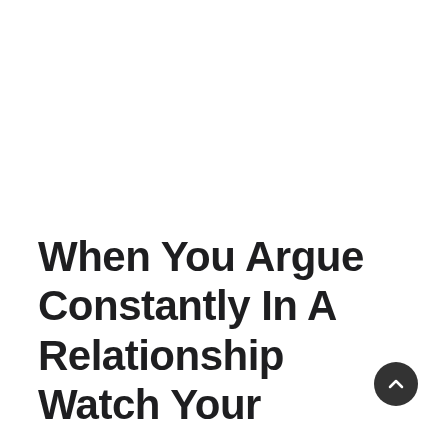When You Argue Constantly In A Relationship Watch Your